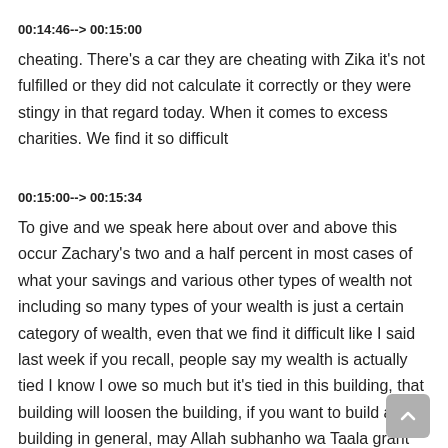00:14:46--> 00:15:00
cheating. There's a car they are cheating with Zika it's not fulfilled or they did not calculate it correctly or they were stingy in that regard today. When it comes to excess charities. We find it so difficult
00:15:00--> 00:15:34
To give and we speak here about over and above this occur Zachary's two and a half percent in most cases of what your savings and various other types of wealth not including so many types of your wealth is just a certain category of wealth, even that we find it difficult like I said last week if you recall, people say my wealth is actually tied I know I owe so much but it's tied in this building, that building will loosen the building, if you want to build a building in general, may Allah subhanho wa Taala grant us forgiveness. So then